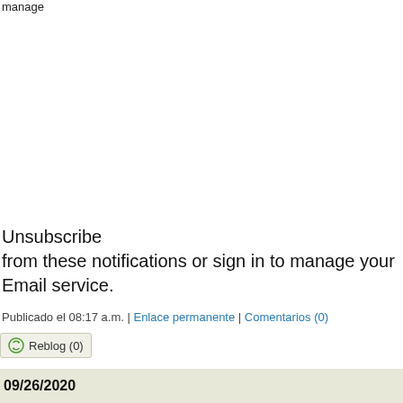manage
Unsubscribe from these notifications or sign in to manage your Email service.
Publicado el 08:17 a.m. | Enlace permanente | Comentarios (0)
Reblog (0)
09/26/2020